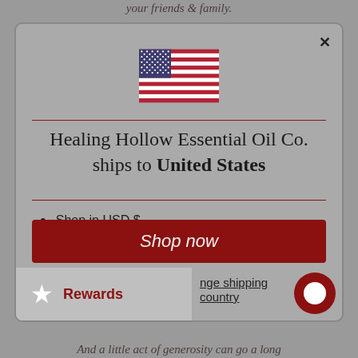your friends & family.
[Figure (illustration): US flag SVG icon centered in modal]
Healing Hollow Essential Oil Co. ships to United States
Shop in USD $
Get shipping options for United States
Shop now
Rewards
nge shipping country
And a little act of generosity can go a long